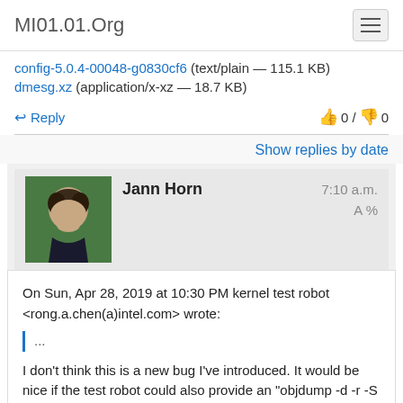MI01.01.Org
config-5.0.4-00048-g0830cf6 (text/plain — 115.1 KB)
dmesg.xz (application/x-xz — 18.7 KB)
Reply   0 / 0
Show replies by date
Jann Horn   7:10 a.m.
On Sun, Apr 28, 2019 at 10:30 PM kernel test robot <rong.a.chen(a)intel.com&gt; wrote:
...
I don't think this is a new bug I've introduced. It would be nice if the test robot could also provide an "objdump -d -r -S -Mintel", or